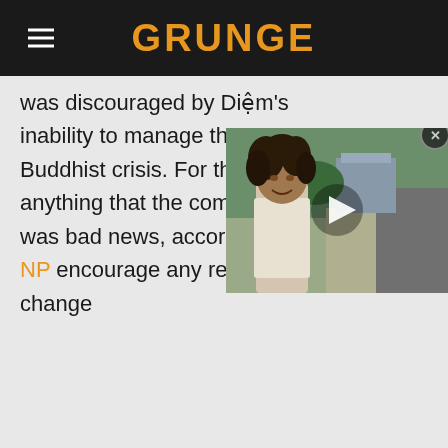GRUNGE
was discouraged by Diệm's inability to manage the Buddhist crisis. For the United anything that the communists was bad news, according to NP encourage any regime change
[Figure (screenshot): Video player overlay showing a man with wild hair outdoors near a road, with a play button in the center and a close (X) button in the upper right corner.]